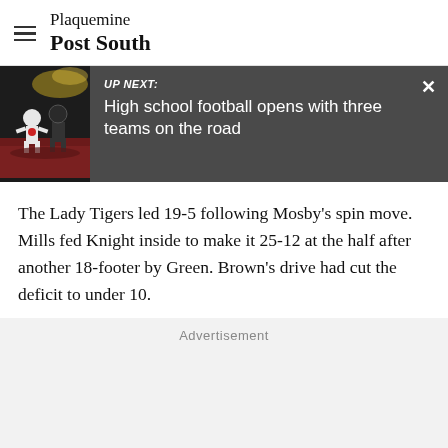Plaquemine Post South
[Figure (screenshot): UP NEXT banner with football game photo on left. Dark grey background. Label reads 'UP NEXT:' followed by headline 'High school football opens with three teams on the road'. Close button (X) in top right corner.]
The Lady Tigers led 19-5 following Mosby's spin move. Mills fed Knight inside to make it 25-12 at the half after another 18-footer by Green. Brown's drive had cut the deficit to under 10.
Advertisement